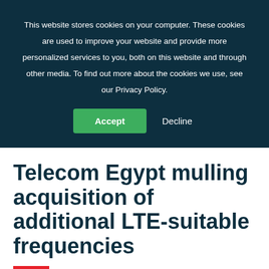This website stores cookies on your computer. These cookies are used to improve your website and provide more personalized services to you, both on this website and through other media. To find out more about the cookies we use, see our Privacy Policy.
Accept
Decline
Telecom Egypt mulling acquisition of additional LTE-suitable frequencies